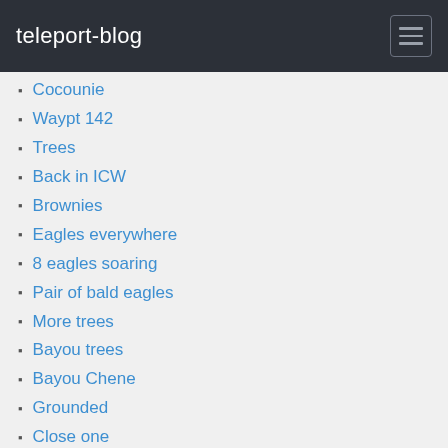teleport-blog
Cocounie
Waypt 142
Trees
Back in ICW
Brownies
Eagles everywhere
8 eagles soaring
Pair of bald eagles
More trees
Bayou trees
Bayou Chene
Grounded
Close one
Morgan City
Thu 1 Mar 20:48
Barely made it under the train bridge
Morgan City
Morgan City
Tug parking lot
Entering Atchafalaya River